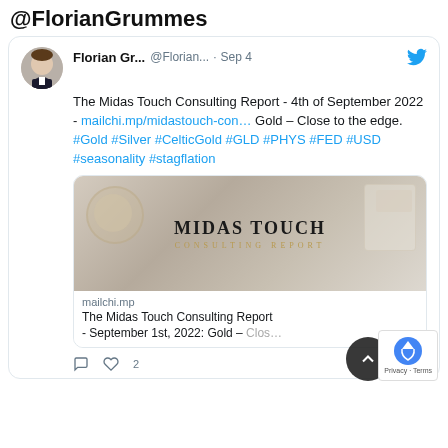@FlorianGrummes
Florian Gr... @Florian... · Sep 4
The Midas Touch Consulting Report - 4th of September 2022 - mailchi.mp/midastouch-con… Gold – Close to the edge. #Gold #Silver #CelticGold #GLD #PHYS #FED #USD #seasonality #stagflation
[Figure (screenshot): Link preview card showing 'MIDAS TOUCH CONSULTING REPORT' branding on a gold-toned background with text 'mailchi.mp' and 'The Midas Touch Consulting Report - September 1st, 2022: Gold – Clos...']